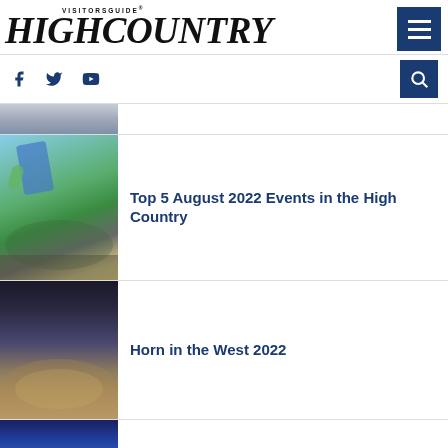High Country Visitors Guide
[Figure (screenshot): Partial image of people standing outdoors, cropped at top of article list]
[Figure (photo): Outdoor festival scene, person raising green bottle, people dancing in a field]
Top 5 August 2022 Events in the High Country
[Figure (photo): Nighttime dance performance or outdoor theater scene, people in a circle]
Horn in the West 2022
[Figure (photo): Partial image at bottom, blue-toned outdoor or stage scene]